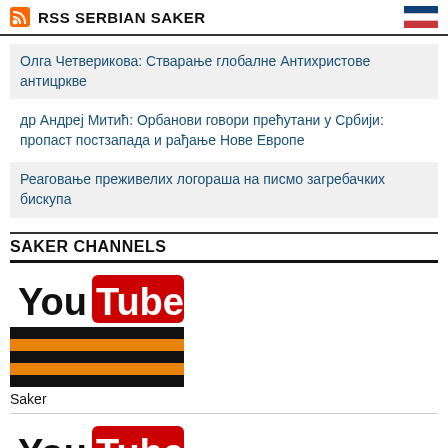RSS SERBIAN SAKER
Олга Четверикова: Стварање глобалне Антихристове антицркве
др Андреј Митић: Орбанови говори прећутани у Србији: пропаст постзапада и рађање Нове Европе
Реаговање преживелих логораша на писмо загребачких бискупа
SAKER CHANNELS
[Figure (logo): YouTube logo with St. George ribbon stripes below, labeled Saker]
Saker
[Figure (logo): YouTube logo with partial French flag (blue, white, red) below]